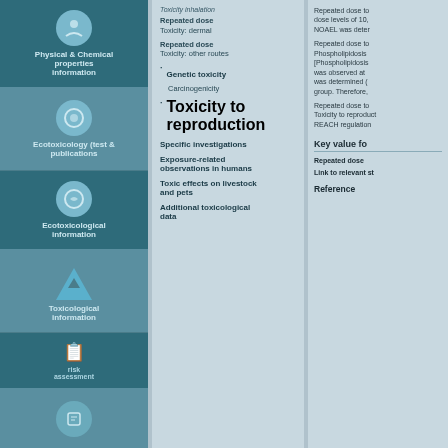Physical & Chemical properties information
Ecotoxicology (test & publications
Ecotoxicological information
Toxicological information
risk assessment
Toxicity inhalation
Repeated dose Toxicity: dermal
Repeated dose Toxicity: other routes
Genetic toxicity
Carcinogenicity
Toxicity to reproduction
Specific investigations
Exposure-related observations in humans
Toxic effects on livestock and pets
Additional toxicological data
Repeated dose to dose levels of 10, NOAEL was deter
Repeated dose to Phospholipidosis [Phospholipidosis was observed at was determined ( group. Therefore,
Repeated dose to Toxicity to reproduct REACH regulation
Key value fo
Repeated dose
Link to relevant st
Reference